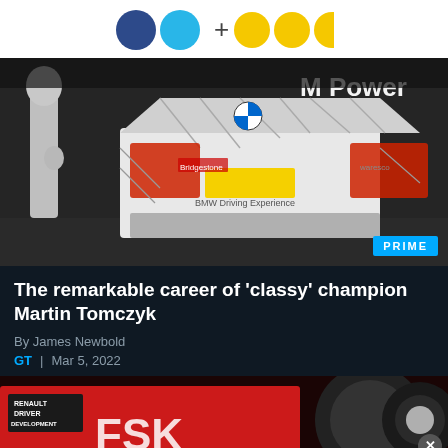[Figure (logo): Logo bar with two dark blue circles, one cyan circle, a plus sign, and three yellow circles]
[Figure (photo): Rear view of a BMW M Power racing car in a pit lane at night, with a race driver in silver suit walking beside it. PRIME badge visible in bottom right corner.]
The remarkable career of 'classy' champion Martin Tomczyk
By James Newbold
GT  |  Mar 5, 2022
[Figure (photo): Partial view of a red Formula car with Renault Driver Development branding and FSK text visible. A close button (x) appears in the bottom right corner.]